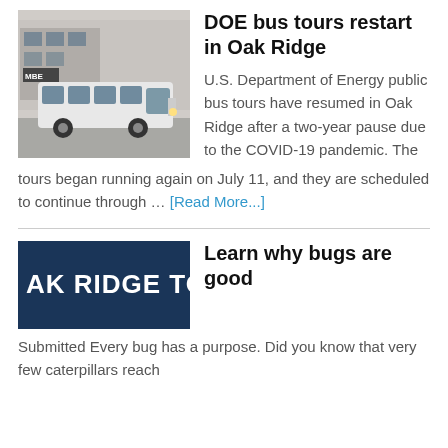[Figure (photo): White bus parked in front of a building with MBE signage]
DOE bus tours restart in Oak Ridge
U.S. Department of Energy public bus tours have resumed in Oak Ridge after a two-year pause due to the COVID-19 pandemic. The tours began running again on July 11, and they are scheduled to continue through … [Read More...]
[Figure (logo): Dark navy banner with white bold text reading 'AK RIDGE TOD']
Learn why bugs are good
Submitted Every bug has a purpose. Did you know that very few caterpillars reach